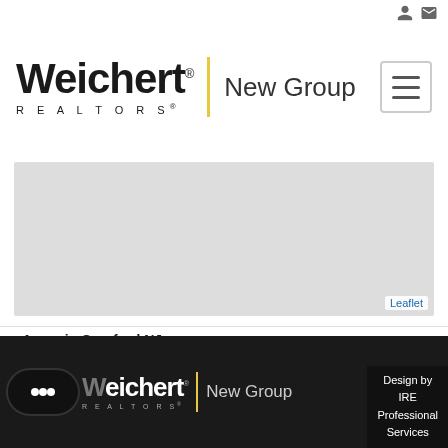Weichert Realtors New Group – header navigation icons
[Figure (logo): Weichert Realtors New Group logo with yellow vertical divider bar]
[Figure (map): Gray placeholder map area with Leaflet attribution link]
Areas in Cranford NJ
Cranford
Weichert Realtors New Group footer logo with chat bubble icon. Design by IRE Professional Services